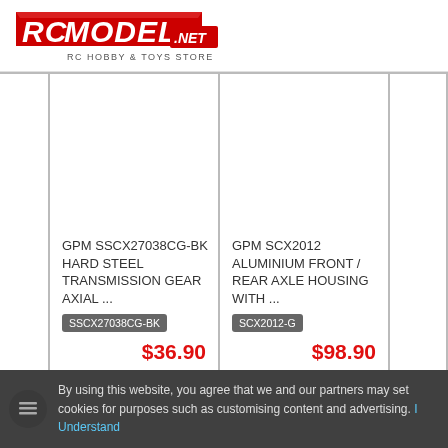[Figure (logo): RCMODEL.NET RC HOBBY & TOYS STORE logo with red stylized text]
GPM SSCX27038CG-BK HARD STEEL TRANSMISSION GEAR AXIAL ...
SSCX27038CG-BK
$36.90
GPM SCX2012 ALUMINIUM FRONT / REAR AXLE HOUSING WITH ...
SCX2012-G
$98.90
By using this website, you agree that we and our partners may set cookies for purposes such as customising content and advertising. I Understand